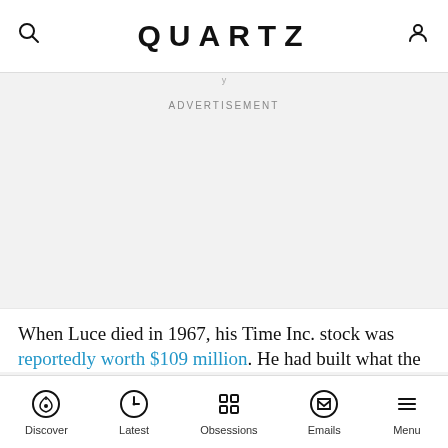QUARTZ
ADVERTISEMENT
When Luce died in 1967, his Time Inc. stock was reportedly worth $109 million. He had built what the
Discover | Latest | Obsessions | Emails | Menu